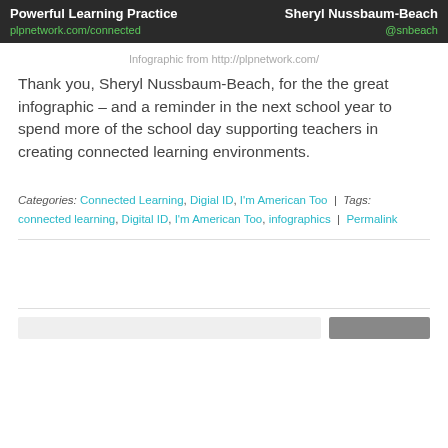Powerful Learning Practice | plpnetwork.com/connected | Sheryl Nussbaum-Beach | @snbeach
Infographic from http://plpnetwork.com/
Thank you, Sheryl Nussbaum-Beach, for the the great infographic – and a reminder in the next school year to spend more of the school day supporting teachers in creating connected learning environments.
Categories: Connected Learning, Digial ID, I'm American Too | Tags: connected learning, Digital ID, I'm American Too, infographics | Permalink